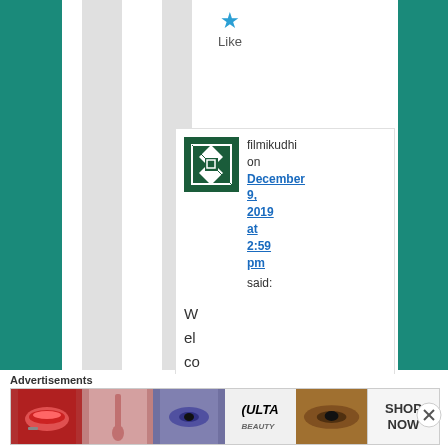[Figure (other): Blue star Like button icon with text 'Like' below]
[Figure (other): Comment block with decorative avatar, username filmikudhi, date December 9, 2019 at 2:59 pm, said:, and partial comment text beginning with 'Wel co']
Advertisements
[Figure (other): Ulta beauty advertisement banner with makeup images and SHOP NOW text]